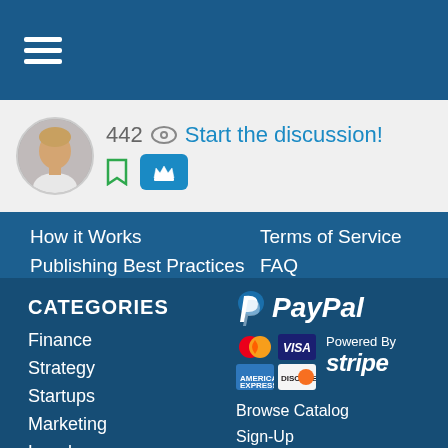Navigation header bar with hamburger menu
[Figure (screenshot): Profile bar showing avatar, view count 442 with eye icon, Start the discussion! link, bookmark icon and cart button]
How it Works
Publishing Best Practices
Finding Best Practices
About Us
Blog
Terms of Service
FAQ
Contact Us
CATEGORIES
Finance
Strategy
Startups
Marketing
Legal
[Figure (logo): PayPal logo with P icon and PayPal text in white italic]
[Figure (logo): Payment cards: Mastercard, Visa, Amex, Discover. Powered By Stripe logo]
Browse Catalog
Sign-Up